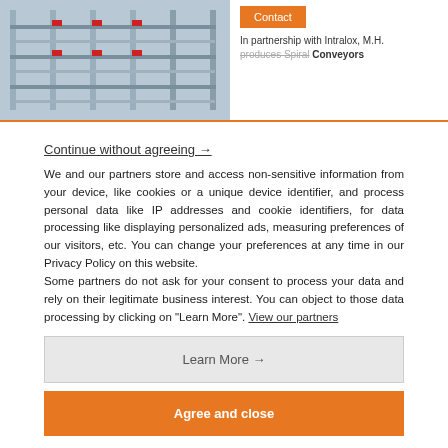[Figure (photo): Photo of industrial shelving/conveyor equipment with metal racks and red accents]
Contact
In partnership with Intralox, M.H. produces Spiral Conveyors
Continue without agreeing →
We and our partners store and access non-sensitive information from your device, like cookies or a unique device identifier, and process personal data like IP addresses and cookie identifiers, for data processing like displaying personalized ads, measuring preferences of our visitors, etc. You can change your preferences at any time in our Privacy Policy on this website.
Some partners do not ask for your consent to process your data and rely on their legitimate business interest. You can object to those data processing by clicking on "Learn More". View our partners
Learn More →
Agree and close